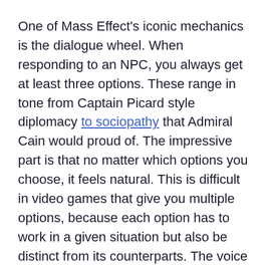One of Mass Effect's iconic mechanics is the dialogue wheel. When responding to an NPC, you always get at least three options. These range in tone from Captain Picard style diplomacy to sociopathy that Admiral Cain would proud of. The impressive part is that no matter which options you choose, it feels natural. This is difficult in video games that give you multiple options, because each option has to work in a given situation but also be distinct from its counterparts. The voice acting helps too, especially Jennifer Hale's.*
The entire Mass Effect series has at least decent writing, but it really stands out in ME2. One reason is that the characters are better realized in the second